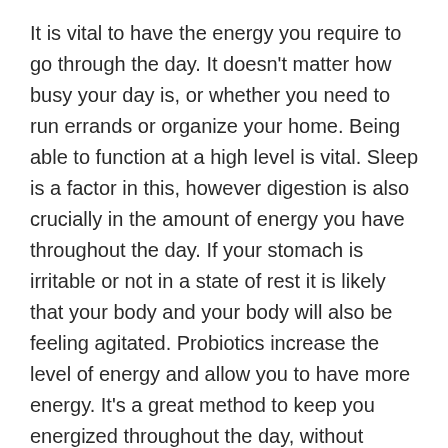It is vital to have the energy you require to go through the day. It doesn't matter how busy your day is, or whether you need to run errands or organize your home. Being able to function at a high level is vital. Sleep is a factor in this, however digestion is also crucially in the amount of energy you have throughout the day. If your stomach is irritable or not in a state of rest it is likely that your body and your body will also be feeling agitated. Probiotics increase the level of energy and allow you to have more energy. It's a great method to keep you energized throughout the day, without having to depend on huge quantities of caffeine to achieve this.
You've already learned the role that your gut